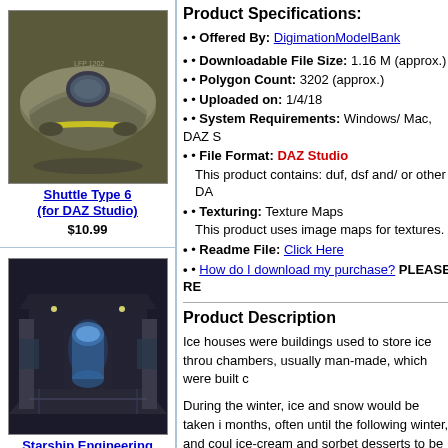[Figure (illustration): 3D render of Shuttle Type 6 spacecraft model, olive/dark green color with yellow accents]
Shuttle Type 6 (for DAZ Studio)
$10.99
[Figure (illustration): 3D render of Starship Engineering Room 3 interior cutaway view with blue lighting]
Starship Engineering Room 3 (for Poser)
$12.00
[Figure (illustration): Vault Room title text in stylized serif/italic font]
Product Specifications:
Offered By: DigimationModelBank
Downloadable File Size: 1.16 M (approx.)
Polygon Count: 3202 (approx.)
Uploaded on: 1/4/18
System Requirements: Windows/ Mac, DAZ S
File Format: DAZ Studio
    This product contains: duf, dsf and/ or other DA
Texturing: Texture Maps
    This product uses image maps for textures.
Readme File: Click Here
How do I download my purchase? PLEASE RE
Product Description
Ice houses were buildings used to store ice throu chambers, usually man-made, which were built c
During the winter, ice and snow would be taken i months, often until the following winter, and coul ice-cream and sorbet desserts to be prepared.
DAZ Studio prop: dsf, duf/ png, with 3,202 polyg
Front door can open with a Pose Control dial o
A basic interior can be seen through the open d
Includes "rock" texture maps and bump maps fo